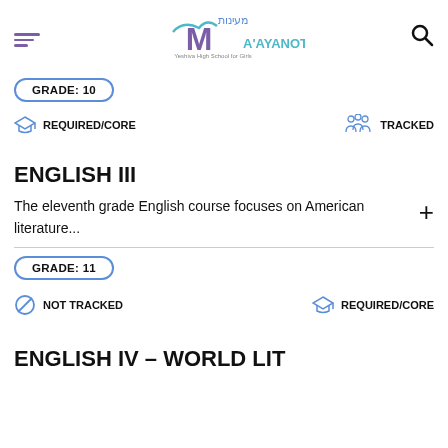Ma'ayanot Yeshiva High School for Girls
GRADE: 10
REQUIRED/CORE    TRACKED
ENGLISH III
The eleventh grade English course focuses on American literature...
GRADE: 11
NOT TRACKED    REQUIRED/CORE
ENGLISH IV – WORLD LIT